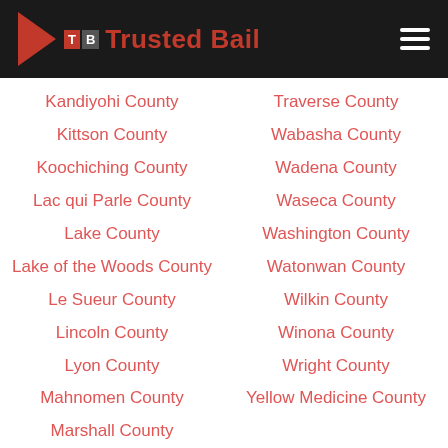Trusted Bail
Kandiyohi County
Kittson County
Koochiching County
Lac qui Parle County
Lake County
Lake of the Woods County
Le Sueur County
Lincoln County
Lyon County
Mahnomen County
Marshall County
Traverse County
Wabasha County
Wadena County
Waseca County
Washington County
Watonwan County
Wilkin County
Winona County
Wright County
Yellow Medicine County